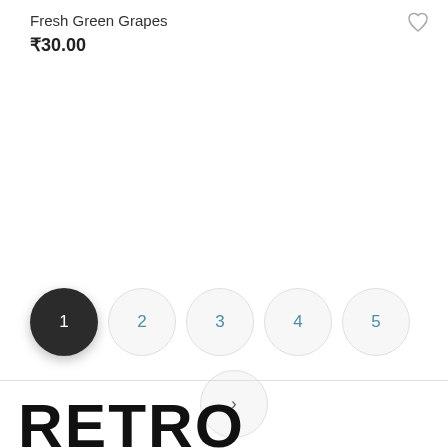Fresh Green Grapes
₹30.00
[Figure (other): Pagination control with circles numbered 1–5, circle 1 is selected (dark filled), circles 2–5 have light gray border and teal numbers, and a next arrow circle below]
RETRO